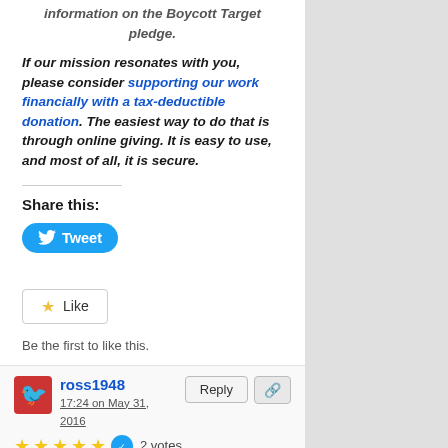information on the Boycott Target pledge.
If our mission resonates with you, please consider supporting our work financially with a tax-deductible donation. The easiest way to do that is through online giving. It is easy to use, and most of all, it is secure.
Share this:
Tweet
Like
Be the first to like this.
ross1948
17:24 on May 31, 2016
2 votes
Illegal immigrants in the US often get better care than the nation's military veterans, Republican presidential nominee Donald Trump has said.